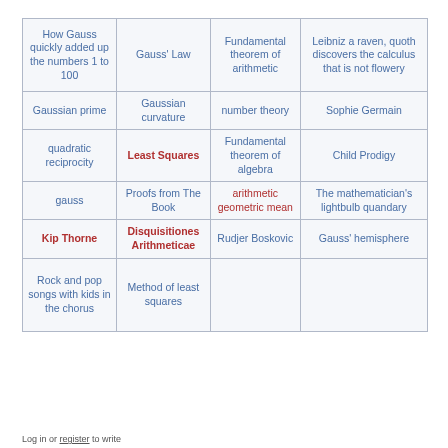| How Gauss quickly added up the numbers 1 to 100 | Gauss' Law | Fundamental theorem of arithmetic | Leibniz a raven, quoth discovers the calculus that is not flowery |
| Gaussian prime | Gaussian curvature | number theory | Sophie Germain |
| quadratic reciprocity | Least Squares | Fundamental theorem of algebra | Child Prodigy |
| gauss | Proofs from The Book | arithmetic geometric mean | The mathematician's lightbulb quandary |
| Kip Thorne | Disquisitiones Arithmeticae | Rudjer Boskovic | Gauss' hemisphere |
| Rock and pop songs with kids in the chorus | Method of least squares |  |  |
Log in or register to write